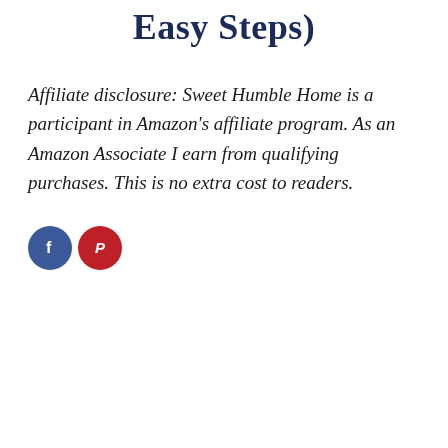Easy Steps)
Affiliate disclosure: Sweet Humble Home is a participant in Amazon's affiliate program. As an Amazon Associate I earn from qualifying purchases. This is no extra cost to readers.
[Figure (infographic): Two social media share buttons: a blue Facebook button with 'f' icon and a red Pinterest button with 'P' icon]